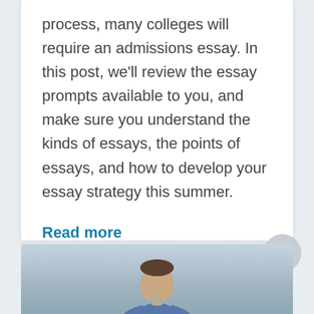process, many colleges will require an admissions essay. In this post, we'll review the essay prompts available to you, and make sure you understand the kinds of essays, the points of essays, and how to develop your essay strategy this summer.
Read more
[Figure (photo): Partial view of a young man in a light blue shirt, photographed from shoulders up against a bright windowed background.]